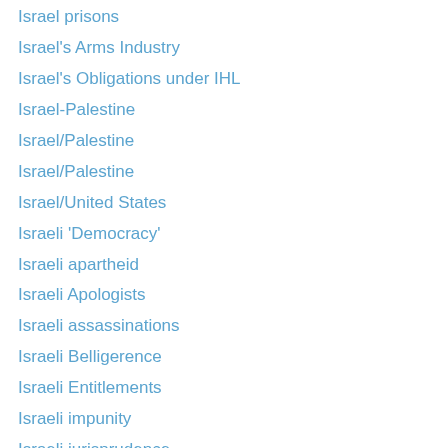Israel prisons
Israel's Arms Industry
Israel's Obligations under IHL
Israel-Palestine
Israel/Palestine
Israel/Palestine
Israel/United States
Israeli 'Democracy'
Israeli apartheid
Israeli Apologists
Israeli assassinations
Israeli Belligerence
Israeli Entitlements
Israeli impunity
Israeli jurisprudence
Israeli Law
Israeli Lobby
Israeli one-state
Israeli One-State Solution
Israeli one-state unilateralism